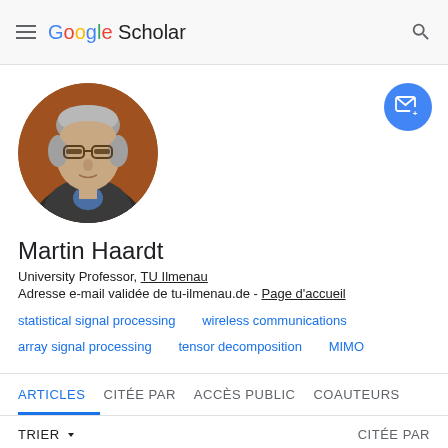Google Scholar
[Figure (photo): Circular profile photo of Martin Haardt, a middle-aged man with grey hair and glasses wearing a dark jacket]
Martin Haardt
University Professor, TU Ilmenau
Adresse e-mail validée de tu-ilmenau.de - Page d'accueil
statistical signal processing
wireless communications
array signal processing
tensor decomposition
MIMO
ARTICLES  CITÉE PAR  ACCÈS PUBLIC  COAUTEURS
TRIER ▾   CITÉE PAR